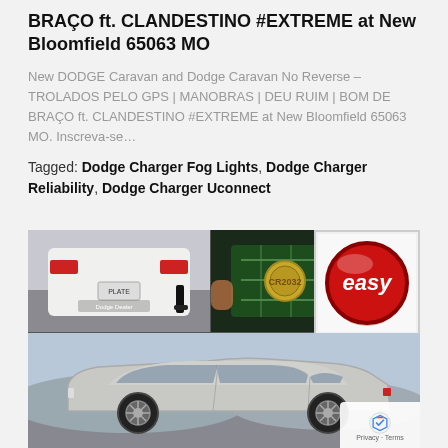BRAÇO ft. CLANDESTINO #EXTREME at New Bloomfield 65063 MO
New DODGE Caravan and Dodge Caravan No Reverse – TROLADOS PELO GPS | MANOBRAS | DEU RUIM | BOM DE BRAÇO ft. CLANDESTINO #EXTREME at New Bloomfield 65063 MO. Inscreva-se…
Tagged: Dodge Charger Fog Lights, Dodge Charger Reliability, Dodge Charger Uconnect
[Figure (photo): Composite image showing: top-left: rear view of white Dodge Charger with someone touching bumper; top-middle: close-up of electronic fog light component; top-right: red 'easy' button on white background; bottom: side view of silver Dodge Charger on open road. reCAPTCHA Privacy/Terms badge in bottom-right corner.]